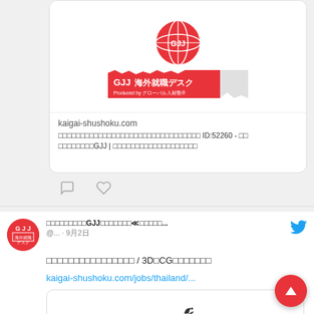[Figure (logo): GJJ globe logo and red banner with text 'GJJ海外就職デスク Produced by グローバル人材塾']
kaigai-shushoku.com
□□□□□□□□□□□□□□□□□□□□□□□□□□□□□□□□ ID:52260 - □□□□□□□□□□GJJ | □□□□□□□□□□□□□□□□□□□
[Figure (illustration): Comment and heart/like icons]
[Figure (logo): GJJ avatar logo - red circle with GJJ text and 海外就職デスク]
□□□□□□□□□GJJ□□□□□□□≪□□□□□... @... · 9月2日
□□□□□□□□□□□□□□□□ / 3D□CG□□□□□□□
kaigai-shushoku.com/jobs/thailand/...
[Figure (logo): GJJ globe logo with bird]